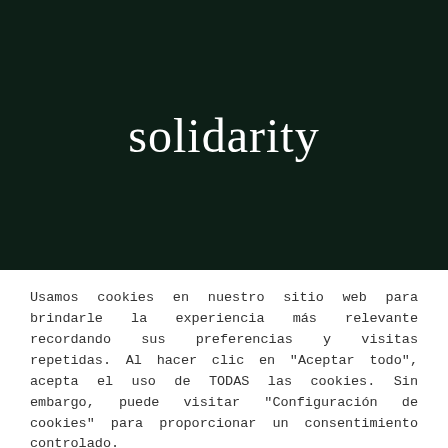[Figure (logo): Website logo showing the word 'solidarity' in white serif font on a dark green/black background]
Usamos cookies en nuestro sitio web para brindarle la experiencia más relevante recordando sus preferencias y visitas repetidas. Al hacer clic en "Aceptar todo", acepta el uso de TODAS las cookies. Sin embargo, puede visitar "Configuración de cookies" para proporcionar un consentimiento controlado.
Cookie Settings
Acepto Todo